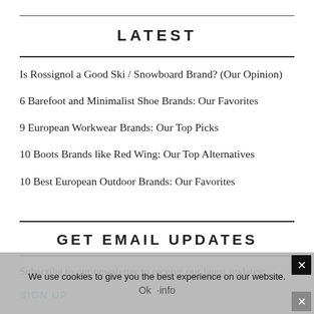LATEST
Is Rossignol a Good Ski / Snowboard Brand? (Our Opinion)
6 Barefoot and Minimalist Shoe Brands: Our Favorites
9 European Workwear Brands: Our Top Picks
10 Boots Brands like Red Wing: Our Top Alternatives
10 Best European Outdoor Brands: Our Favorites
GET EMAIL UPDATES
Subscribe to our newsletter to receive our latest updates:
SIGN UP
We use cookies to give you the best experience on our website.
Ok  ·info